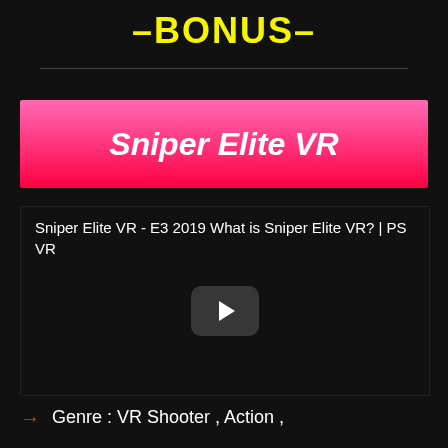–BONUS–
[Figure (screenshot): Video player thumbnail for Sniper Elite VR showing a black screen with a play button, titled 'Sniper Elite VR - E3 2019 What is Sniper Elite VR? | PS VR']
Genre : VR Shooter , Action ,